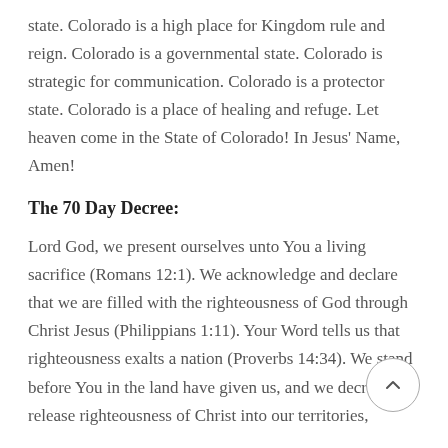state. Colorado is a high place for Kingdom rule and reign. Colorado is a governmental state. Colorado is strategic for communication. Colorado is a protector state. Colorado is a place of healing and refuge. Let heaven come in the State of Colorado! In Jesus' Name, Amen!
The 70 Day Decree:
Lord God, we present ourselves unto You a living sacrifice (Romans 12:1). We acknowledge and declare that we are filled with the righteousness of God through Christ Jesus (Philippians 1:11). Your Word tells us that righteousness exalts a nation (Proverbs 14:34). We stand before You in the land have given us, and we decree and release righteousness of Christ into our territories,